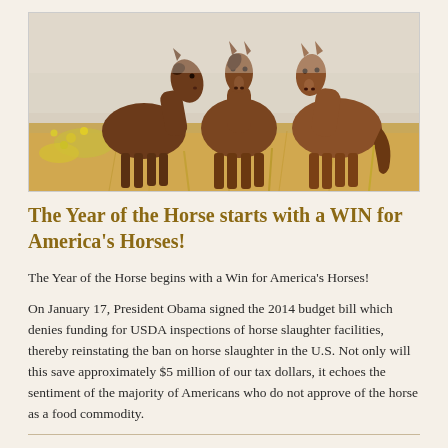[Figure (photo): Three brown horses standing in a golden field with yellow wildflowers and dry grass, misty background]
The Year of the Horse starts with a WIN for America's Horses!
The Year of the Horse begins with a Win for America's Horses!
On January 17, President Obama signed the 2014 budget bill which denies funding for USDA inspections of horse slaughter facilities, thereby reinstating the ban on horse slaughter in the U.S. Not only will this save approximately $5 million of our tax dollars, it echoes the sentiment of the majority of Americans who do not approve of the horse as a food commodity.